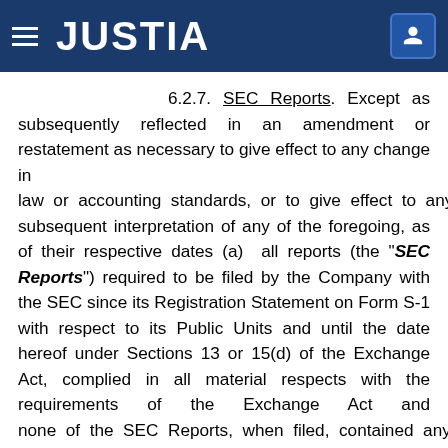JUSTIA
6.2.7. SEC Reports. Except as subsequently reflected in an amendment or restatement as necessary to give effect to any change in law or accounting standards, or to give effect to any subsequent interpretation of any of the foregoing, as of their respective dates (a) all reports (the "SEC Reports") required to be filed by the Company with the SEC since its Registration Statement on Form S-1 with respect to its Public Units and until the date hereof under Sections 13 or 15(d) of the Exchange Act, complied in all material respects with the requirements of the Exchange Act and none of the SEC Reports, when filed, contained any untrue statement of a material fact or omitted to state a material fact required to be stated therein or necessary in order to make the statements therein, in the light of the circumstances under which they were made, not